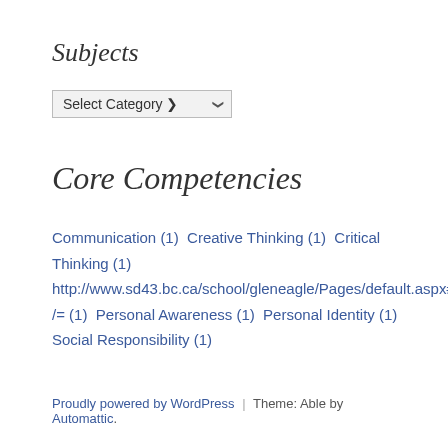Subjects
Select Category
Core Competencies
Communication (1) Creative Thinking (1) Critical Thinking (1) http://www.sd43.bc.ca/school/gleneagle/Pages/default.aspx#/= (1) Personal Awareness (1) Personal Identity (1) Social Responsibility (1)
Proudly powered by WordPress | Theme: Able by Automattic.